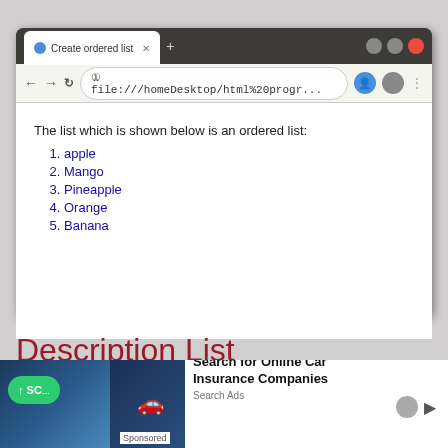[Figure (screenshot): Browser window showing a Chrome-like browser with tab 'Create ordered list', address bar showing file:///homeDesktop/html%20progr..., and a white content area displaying an ordered list of fruits.]
The list which is shown below is an ordered list:
1. apple
2. Mango
3. Pineapple
4. Orange
5. Banana
Description List
[Figure (photo): Advertisement banner showing car insurance images and text 'Search for Online Car Insurance Companies', 'Search Ads', 'Sponsored']